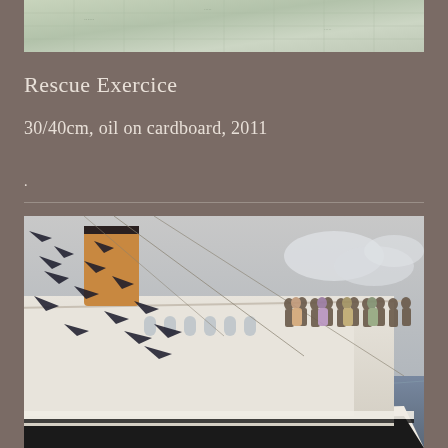[Figure (photo): Top portion of a painting showing a nautical map or chart with muted green tones]
Rescue Exercice
30/40cm, oil on cardboard, 2011
.
[Figure (photo): Painting of a large ocean liner with people standing on deck, birds or dolphins flying around the ship, smokestack visible, ocean in background]